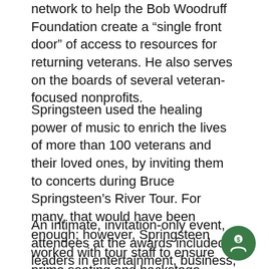network to help the Bob Woodruff Foundation create a “single front door” of access to resources for returning veterans. He also serves on the boards of several veteran-focused nonprofits.
Springsteen used the healing power of music to enrich the lives of more than 100 veterans and their loved ones, by inviting them to concerts during Bruce Springsteen’s River Tour. For many, that would have been enough; however, Springsteen worked with tour staff to ensure prime seating and backstage access for these injured heroes.
An intimate, invitation-only event, attendees at the awards included leaders in entertainment, business, and philanthropy. Beyond recognizing the honorees,